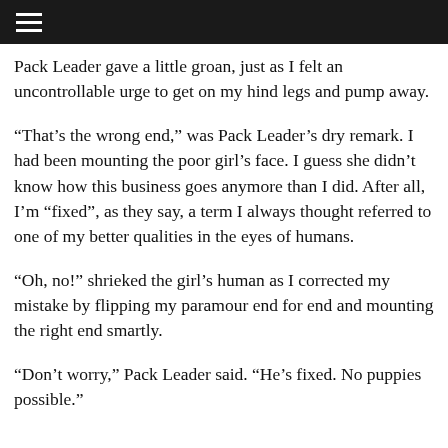≡
Pack Leader gave a little groan, just as I felt an uncontrollable urge to get on my hind legs and pump away.
“That’s the wrong end,” was Pack Leader’s dry remark. I had been mounting the poor girl’s face. I guess she didn’t know how this business goes anymore than I did. After all, I’m “fixed”, as they say, a term I always thought referred to one of my better qualities in the eyes of humans.
“Oh, no!” shrieked the girl’s human as I corrected my mistake by flipping my paramour end for end and mounting the right end smartly.
“Don’t worry,” Pack Leader said. “He’s fixed. No puppies possible.”